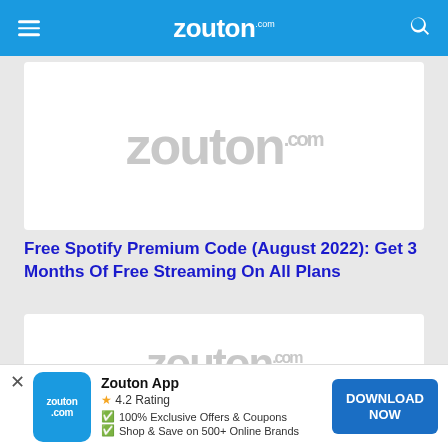zouton.com
[Figure (logo): Zouton.com logo watermark on white card background]
Free Spotify Premium Code (August 2022): Get 3 Months Of Free Streaming On All Plans
[Figure (logo): Zouton.com logo watermark on white card background, second card]
Zouton App • 4.2 Rating • 100% Exclusive Offers & Coupons • Shop & Save on 500+ Online Brands • DOWNLOAD NOW